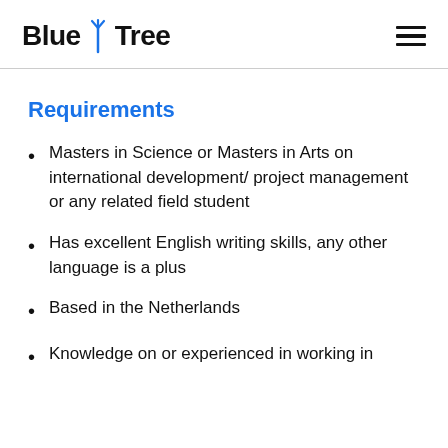Blue Tree
Requirements
Masters in Science or Masters in Arts on international development/ project management or any related field student
Has excellent English writing skills, any other language is a plus
Based in the Netherlands
Knowledge on or experienced in working in